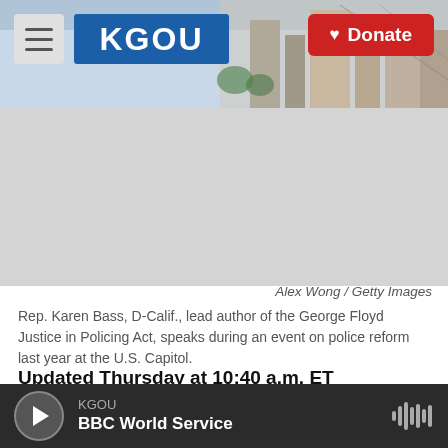KGOU | Donate
[Figure (photo): KGOU radio website header with logo, hamburger menu, Donate button, and city/bridge background photo]
Alex Wong / Getty Images
Rep. Karen Bass, D-Calif., lead author of the George Floyd Justice in Policing Act, speaks during an event on police reform last year at the U.S. Capitol.
Updated Thursday at 10:40 a.m. ET
House lawmakers on Wednesday passed the George Floyd Justice in Policing Act, a reform bill
KGOU | BBC World Service